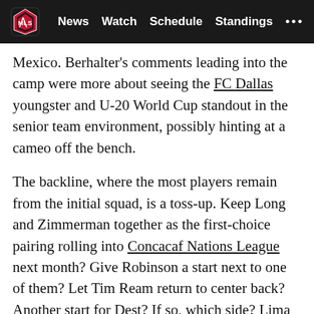MLS | News  Watch  Schedule  Standings  ...
Mexico. Berhalter's comments leading into the camp were more about seeing the FC Dallas youngster and U-20 World Cup standout in the senior team environment, possibly hinting at a cameo off the bench.
The backline, where the most players remain from the initial squad, is a toss-up. Keep Long and Zimmerman together as the first-choice pairing rolling into Concacaf Nations League next month? Give Robinson a start next to one of them? Let Tim Ream return to center back? Another start for Dest? If so, which side? Lima or Cannon? Guzan or Gonzalez?
Tune in Tuesday to find out.